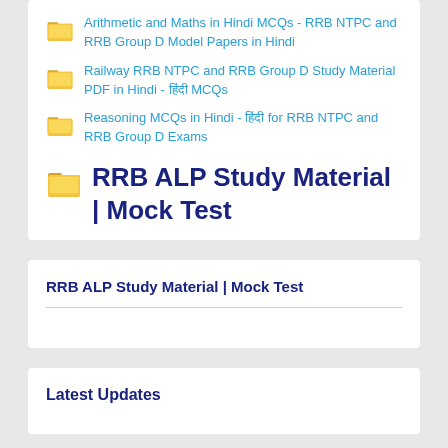Arithmetic and Maths in Hindi MCQs - RRB NTPC and RRB Group D Model Papers in Hindi
Railway RRB NTPC and RRB Group D Study Material PDF in Hindi - हिंदी MCQs
Reasoning MCQs in Hindi - हिंदी for RRB NTPC and RRB Group D Exams
RRB ALP Study Material | Mock Test
RRB ALP Study Material | Mock Test
Latest Updates